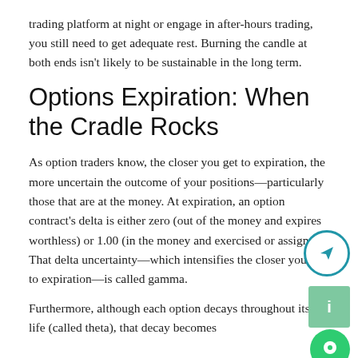trading platform at night or engage in after-hours trading, you still need to get adequate rest. Burning the candle at both ends isn't likely to be sustainable in the long term.
Options Expiration: When the Cradle Rocks
As option traders know, the closer you get to expiration, the more uncertain the outcome of your positions—particularly those that are at the money. At expiration, an option contract's delta is either zero (out of the money and expires worthless) or 1.00 (in the money and exercised or assigned). That delta uncertainty—which intensifies the closer you get to expiration—is called gamma.
Furthermore, although each option decays throughout its life (called theta), that decay becomes